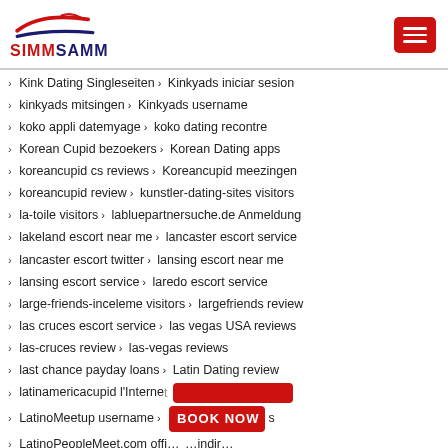[Figure (logo): SimmSamm logo with red and blue swoosh lines above bold text SIMMSAMM]
Kink Dating Singleseiten > Kinkyads iniciar sesion
kinkyads mitsingen > Kinkyads username
koko appli datemyage > koko dating recontre
Korean Cupid bezoekers > Korean Dating apps
koreancupid cs reviews > Koreancupid meezingen
koreancupid review > kunstler-dating-sites visitors
la-toile visitors > labluepartnersuche.de Anmeldung
lakeland escort near me > lancaster escort service
lancaster escort twitter > lansing escort near me
lansing escort service > laredo escort service
large-friends-inceleme visitors > largefriends review
las cruces escort service > las vegas USA reviews
las-cruces review > las-vegas reviews
last chance payday loans > Latin Dating review
latinamericacupid l'Internet…
LatinoMeetup username >…
LatinoPeopleMeet.com offi… …indir…